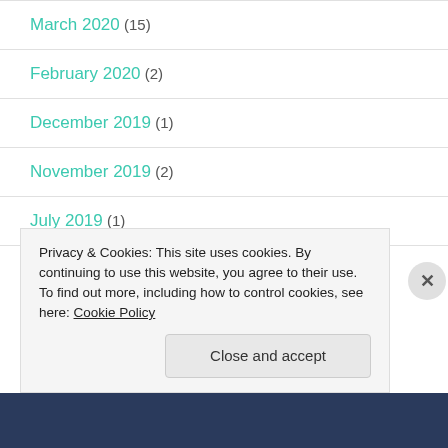March 2020 (15)
February 2020 (2)
December 2019 (1)
November 2019 (2)
July 2019 (1)
April 2019 (1)
Privacy & Cookies: This site uses cookies. By continuing to use this website, you agree to their use.
To find out more, including how to control cookies, see here: Cookie Policy
Close and accept